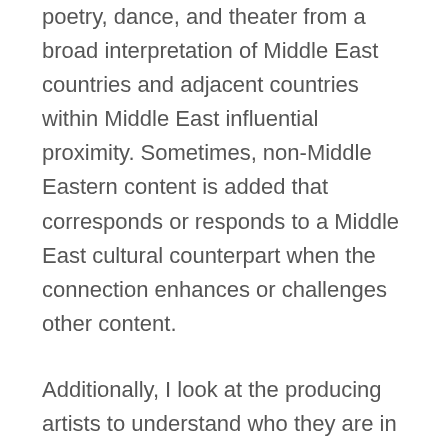poetry, dance, and theater from a broad interpretation of Middle East countries and adjacent countries within Middle East influential proximity. Sometimes, non-Middle Eastern content is added that corresponds or responds to a Middle East cultural counterpart when the connection enhances or challenges other content.
Additionally, I look at the producing artists to understand who they are in association with what they produce, and where possible, in context to the social-political environment where they are from. Content can be explored by both